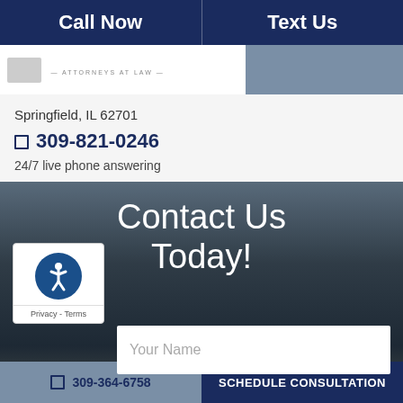Call Now | Text Us
[Figure (logo): Law firm logo with ATTORNEYS AT LAW text]
Springfield, IL 62701
309-821-0246
24/7 live phone answering
Contact Us Today!
[Figure (other): Accessibility widget with person icon, Privacy - Terms label]
Your Name
309-364-6758 | SCHEDULE CONSULTATION